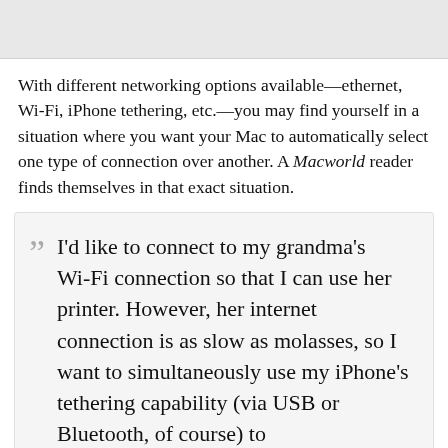[Figure (photo): Gray image/photo bar at the top of the page]
With different networking options available—ethernet, Wi-Fi, iPhone tethering, etc.—you may find yourself in a situation where you want your Mac to automatically select one type of connection over another. A Macworld reader finds themselves in that exact situation.
I'd like to connect to my grandma's Wi-Fi connection so that I can use her printer. However, her internet connection is as slow as molasses, so I want to simultaneously use my iPhone's tethering capability (via USB or Bluetooth, of course) to